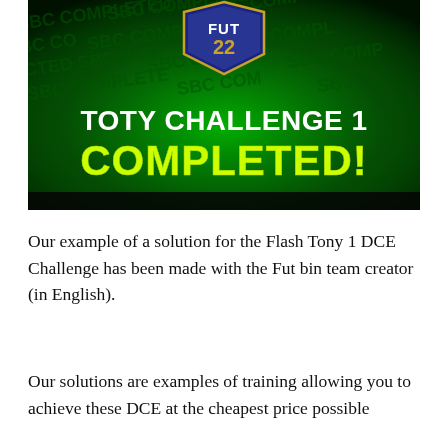[Figure (screenshot): FUT 22 TOTY Challenge 1 COMPLETED! banner with dark green glowing background and 'SBC COMPLETED' text repeated in background. Blue FUT 22 shield logo at top center. White bold text 'TOTY CHALLENGE 1' and yellow-green bold text 'COMPLETED!']
Our example of a solution for the Flash Tony 1 DCE Challenge has been made with the Fut bin team creator (in English).
Our solutions are examples of training allowing you to achieve these DCE at the cheapest price possible